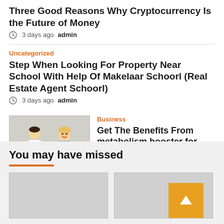Three Good Reasons Why Cryptocurrency Is the Future of Money
3 days ago  admin
Uncategorized
Step When Looking For Property Near School With Help Of Makelaar Schoorl (Real Estate Agent Schoorl)
3 days ago  admin
[Figure (photo): A medical professional and a smiling woman standing on a scale]
Business
Get The Benefits From metabolism booster for weight loss Vitamins From AdrenalWork
3 days ago  admin
You may have missed
[Figure (photo): Placeholder image left]
[Figure (photo): Placeholder image right]